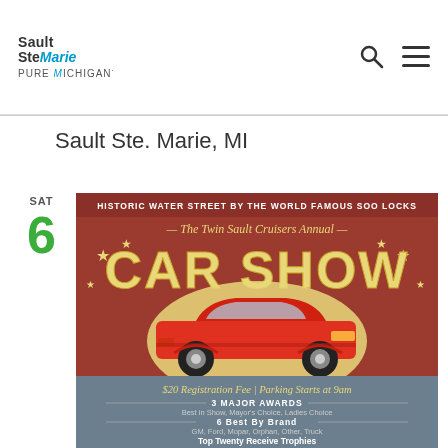Sault Ste Marie Pure Michigan — navigation header with search and menu icons
Sault Ste. Marie, MI
SAT 6
[Figure (illustration): Car show event poster: 'Historic Water Street by the World Famous Soo Locks — The Twin Sault Cruisers Annual CAR SHOW. $20 Registration Fee | Parking Starts at 9am. 3 Major Awards: Best in Show, Mayor's Choice, Ladies Choice. 6 Best By Brand: GM, Ford, Mopar, Orphan, Other, Truck. Top Twenty Receive Trophies. $100 Cash to a Pre-WWII Vehicle & Farthest Traveled. August 6, 2022 • 10am – 3pm. Door Prizes • Music by G-Man Entertainment.' Features a red classic car on a reddish-brown background with gold stars and gold semicircle.]